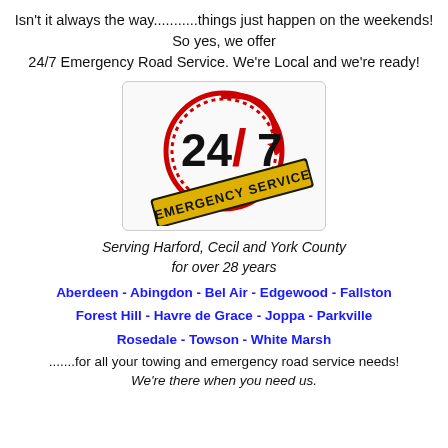Isn't it always the way...........things just happen on the weekends!  So yes, we offer 24/7 Emergency Road Service.  We're Local and we're ready!
[Figure (logo): 24/7 Emergency Service badge logo with a clock/stopwatch graphic in red, bold black text '24/7' and yellow banner text 'EMERGENCY SERVICE']
Serving Harford, Cecil and York County for over 28 years
Aberdeen - Abingdon - Bel Air - Edgewood - Fallston
Forest Hill - Havre de Grace - Joppa - Parkville
Rosedale - Towson - White Marsh
.......for all your towing and emergency road service needs!
We're there when you need us.